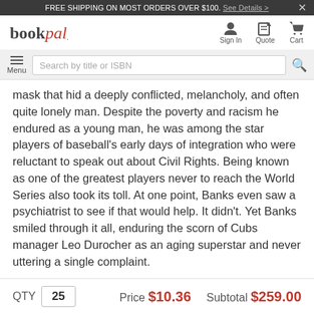FREE SHIPPING ON MOST ORDERS OVER $100. See Details >
[Figure (logo): bookpal logo with red italic 'pal' text]
mask that hid a deeply conflicted, melancholy, and often quite lonely man. Despite the poverty and racism he endured as a young man, he was among the star players of baseball's early days of integration who were reluctant to speak out about Civil Rights. Being known as one of the greatest players never to reach the World Series also took its toll. At one point, Banks even saw a psychiatrist to see if that would help. It didn't. Yet Banks smiled through it all, enduring the scorn of Cubs manager Leo Durocher as an aging superstar and never uttering a single complaint.
QTY 25   Price $10.36   Subtotal $259.00
Add to Cart